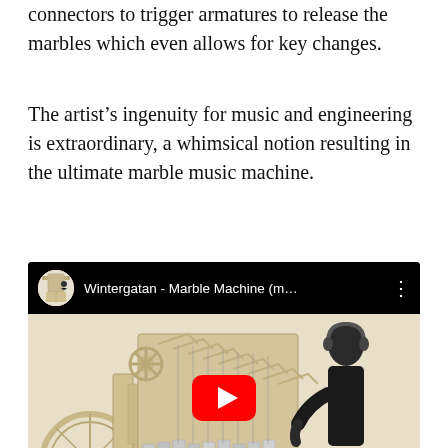connectors to trigger armatures to release the marbles which even allows for key changes.
The artist's ingenuity for music and engineering is extraordinary, a whimsical notion resulting in the ultimate marble music machine.
[Figure (screenshot): YouTube video thumbnail for 'Wintergatan - Marble Machine (m...' showing a wooden mechanical marble music machine with a person wearing headphones operating it. A red YouTube play button is centered on the thumbnail. The video player has a black top bar with a circular channel avatar, the video title, and a three-dot menu icon.]